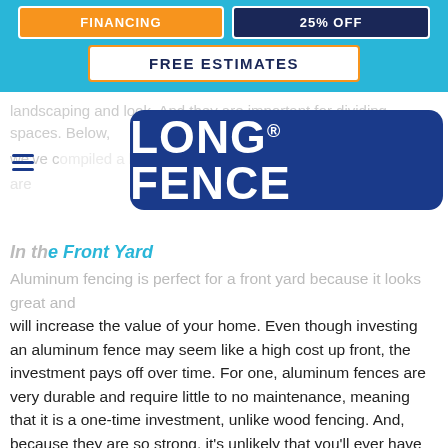[Figure (infographic): Blue top banner with orange FINANCING button, dark navy 25% OFF button, and white FREE ESTIMATES button with orange border. Long Fence logo (white text on blue rounded rectangle). Hamburger menu icon.]
landscaping and look. And they are important for dividing spaces. Below, we've c... ...re...
In the Front Yard
Aluminum fencing is perfect for a front yard because it looks great and will increase the value of your home. Even though investing an aluminum fence may seem like a high cost up front, the investment pays off over time. For one, aluminum fences are very durable and require little to no maintenance, meaning that it is a one-time investment, unlike wood fencing. And, because they are so strong, it's unlikely that you'll ever have to perform extensive repairs. Aluminum fences are also less expensive than wrought iron fences, so you get a whole new look for your home and the aesthetic value of wrought iron without much of a price tag.